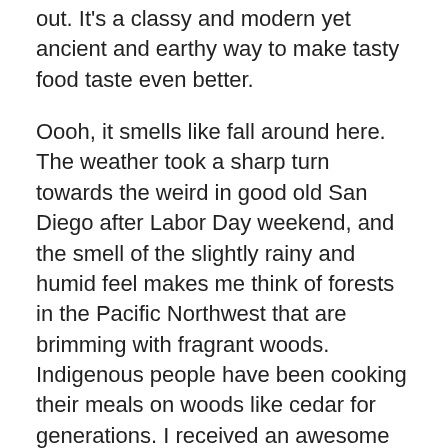out. It's a classy and modern yet ancient and earthy way to make tasty food taste even better.
Oooh, it smells like fall around here. The weather took a sharp turn towards the weird in good old San Diego after Labor Day weekend, and the smell of the slightly rainy and humid feel makes me think of forests in the Pacific Northwest that are brimming with fragrant woods. Indigenous people have been cooking their meals on woods like cedar for generations. I received an awesome gift of some fresh Alaskan salmon, so I figured this was the perfect time to try some planking on my M7P outdoor cooking system.
I did a little research beforehand, looking at the tips from the manufacturer (I used "TrueFire" planks but there are a few different places to get cedar specifically prepared for